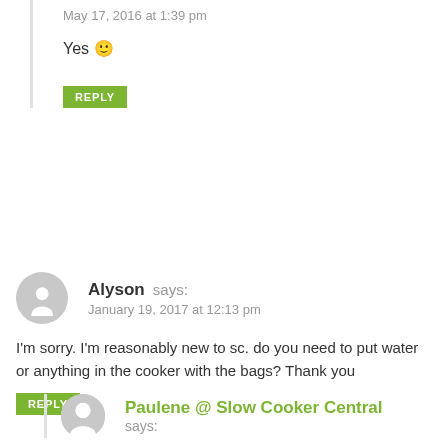May 17, 2016 at 1:39 pm
Yes 🙂
REPLY
Alyson says:
January 19, 2017 at 12:13 pm
I'm sorry. I'm reasonably new to sc. do you need to put water or anything in the cooker with the bags? Thank you
REPLY
Paulene @ Slow Cooker Central says: